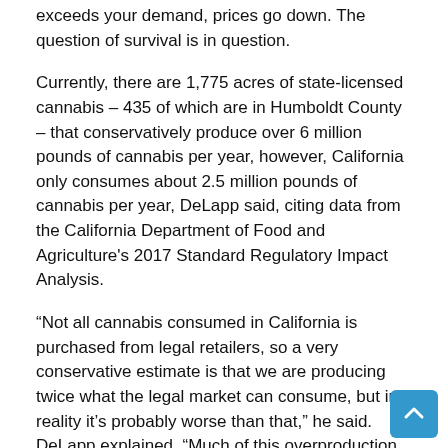exceeds your demand, prices go down. The question of survival is in question.
Currently, there are 1,775 acres of state-licensed cannabis – 435 of which are in Humboldt County – that conservatively produce over 6 million pounds of cannabis per year, however, California only consumes about 2.5 million pounds of cannabis per year, DeLapp said, citing data from the California Department of Food and Agriculture's 2017 Standard Regulatory Impact Analysis.
“Not all cannabis consumed in California is purchased from legal retailers, so a very conservative estimate is that we are producing twice what the legal market can consume, but in reality it’s probably worse than that,” he said. DeLapp explained. “Much of this overproduction is attributable to large-scale farms outside the Emerald Triangle, on the Central Coast and elsewhere, where it is common for single farms to be allowed for dozens of acres. These areas continue to bring hundreds of acres of new production online despite the fact that there is no